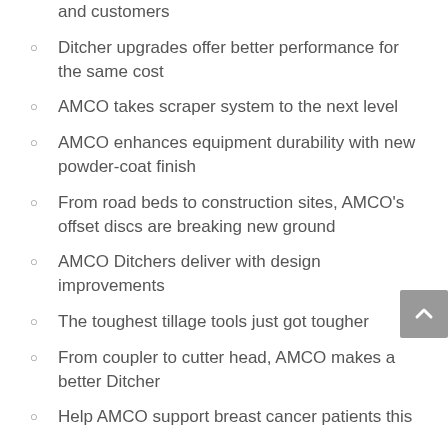and customers
Ditcher upgrades offer better performance for the same cost
AMCO takes scraper system to the next level
AMCO enhances equipment durability with new powder-coat finish
From road beds to construction sites, AMCO's offset discs are breaking new ground
AMCO Ditchers deliver with design improvements
The toughest tillage tools just got tougher
From coupler to cutter head, AMCO makes a better Ditcher
Help AMCO support breast cancer patients this